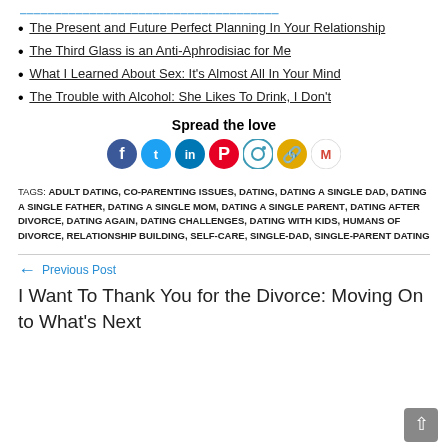The Present and Future Perfect Planning In Your Relationship
The Third Glass is an Anti-Aphrodisiac for Me
What I Learned About Sex: It's Almost All In Your Mind
The Trouble with Alcohol: She Likes To Drink, I Don't
Spread the love
[Figure (infographic): Social media sharing icons: Facebook, Twitter, LinkedIn, Pinterest, Instagram, Copy Link, Gmail]
TAGS: ADULT DATING, CO-PARENTING ISSUES, DATING, DATING A SINGLE DAD, DATING A SINGLE FATHER, DATING A SINGLE MOM, DATING A SINGLE PARENT, DATING AFTER DIVORCE, DATING AGAIN, DATING CHALLENGES, DATING WITH KIDS, HUMANS OF DIVORCE, RELATIONSHIP BUILDING, SELF-CARE, SINGLE-DAD, SINGLE-PARENT DATING
Previous Post
I Want To Thank You for the Divorce: Moving On to What's Next